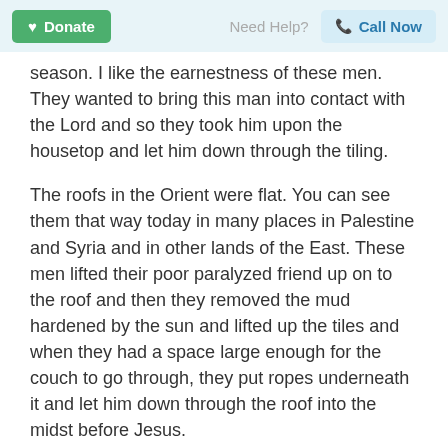Donate | Need Help? | Call Now
season. I like the earnestness of these men. They wanted to bring this man into contact with the Lord and so they took him upon the housetop and let him down through the tiling.
The roofs in the Orient were flat. You can see them that way today in many places in Palestine and Syria and in other lands of the East. These men lifted their poor paralyzed friend up on to the roof and then they removed the mud hardened by the sun and lifted up the tiles and when they had a space large enough for the couch to go through, they put ropes underneath it and let him down through the roof into the midst before Jesus.
I can imagine the people there wondering what was happening when the pieces of mud and tiling fell through and then when this couch was let down, they no doubt said something about smiling there for a long moment and